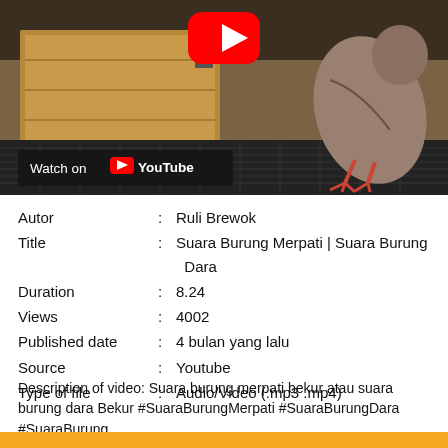[Figure (screenshot): YouTube video thumbnail showing a pigeon/dove bird near wooden crates/boxes on a wire mesh floor. A red YouTube play button is visible at the top center. A 'Watch on YouTube' watermark is displayed at the bottom left of the thumbnail.]
| Autor | : | Ruli Brewok |
| Title | : | Suara Burung Merpati | Suara Burung Dara |
| Duration | : | 8.24 |
| Views | : | 4002 |
| Published date | : | 4 bulan yang lalu |
| Source | : | Youtube |
| Type of file | : | Audio/Video (.mp3 .mp4) |
Description of video: Suara burung merpati bekur atau suara burung dara Bekur #SuaraBurungMerpati #SuaraBurungDara #SuaraBurung.